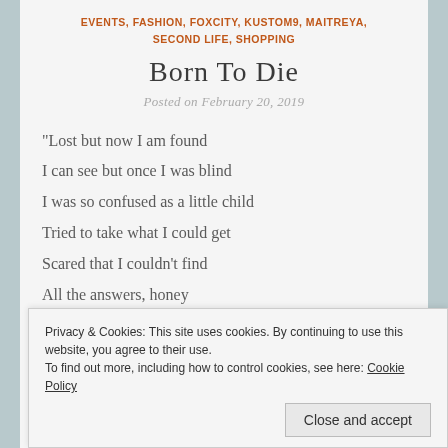EVENTS, FASHION, FOXCITY, KUSTOM9, MAITREYA, SECOND LIFE, SHOPPING
Born To Die
Posted on February 20, 2019
“Lost but now I am found
I can see but once I was blind
I was so confused as a little child
Tried to take what I could get
Scared that I couldn’t find
All the answers, honey
Privacy & Cookies: This site uses cookies. By continuing to use this website, you agree to their use.
To find out more, including how to control cookies, see here: Cookie Policy
Let’s go get high